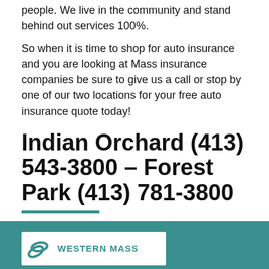people. We live in the community and stand behind out services 100%.
So when it is time to shop for auto insurance and you are looking at Mass insurance companies be sure to give us a call or stop by one of our two locations for your free auto insurance quote today!
Indian Orchard (413) 543-3800 – Forest Park (413) 781-3800
[Figure (logo): Western Mass logo with teal swoosh icon and WESTERN MASS text in teal on white background]